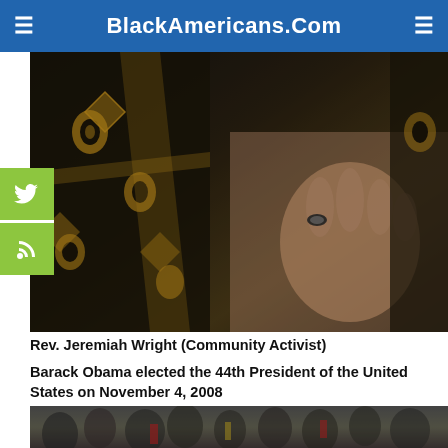BlackAmericans.Com
[Figure (photo): Close-up photo of Rev. Jeremiah Wright showing decorative patterned robe and hand with ring]
Rev. Jeremiah Wright (Community Activist)
Barack Obama elected the 44th President of the United States on November 4, 2008
[Figure (photo): Photo of Barack Obama taking the oath of office at his inauguration, surrounded by family members and officials]